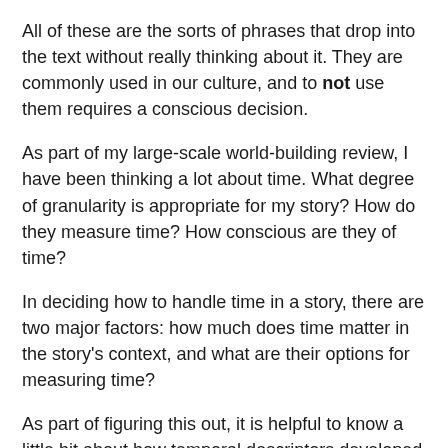All of these are the sorts of phrases that drop into the text without really thinking about it. They are commonly used in our culture, and to not use them requires a conscious decision.
As part of my large-scale world-building review, I have been thinking a lot about time. What degree of granularity is appropriate for my story? How do they measure time? How conscious are they of time?
In deciding how to handle time in a story, there are two major factors: how much does time matter in the story’s context, and what are their options for measuring time?
As part of figuring this out, it is helpful to know a little bit about how temporal descriptors developed in our world, and what timekeeping devices have been like throughout history. Stealing like a thief is always a fine option in world building!
How Long is an Hour?